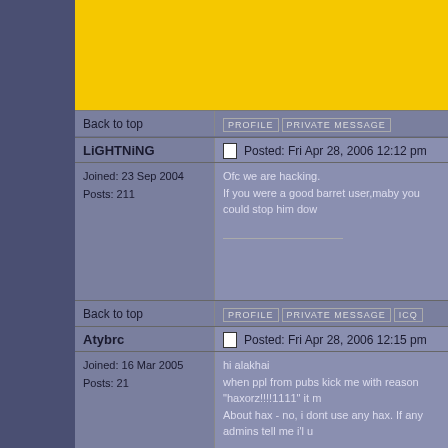[Figure (other): Yellow banner advertisement at top of forum page]
Back to top
PROFILE  PRIVATE MESSAGE
LiGHTNiNG
Posted: Fri Apr 28, 2006 12:12 pm
Joined: 23 Sep 2004
Posts: 211
Ofc we are hacking.
If you were a good barret user,maby you could stop him dow
Back to top
PROFILE  PRIVATE MESSAGE  ICQ
Atybrc
Posted: Fri Apr 28, 2006 12:15 pm
Joined: 16 Mar 2005
Posts: 21
hi alakhai
when ppl from pubs kick me with reason "haxorz!!!!1111" it m
About hax - no, i dont use any hax. If any admins tell me i'l u
C`mon you apes! Do you want to leave forever?!